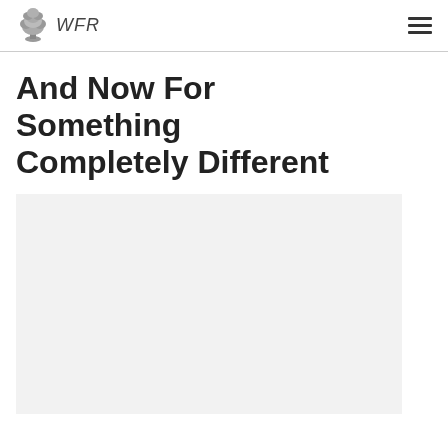WFR
And Now For Something Completely Different
[Figure (photo): Large light gray placeholder image area below the title]